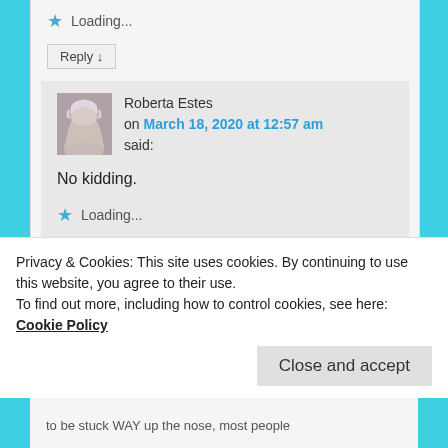★ Loading...
Reply ↓
Roberta Estes on March 18, 2020 at 12:57 am said:
No kidding.
★ Loading...
Reply ↓
Privacy & Cookies: This site uses cookies. By continuing to use this website, you agree to their use. To find out more, including how to control cookies, see here: Cookie Policy
Close and accept
to be stuck WAY up the nose, most people